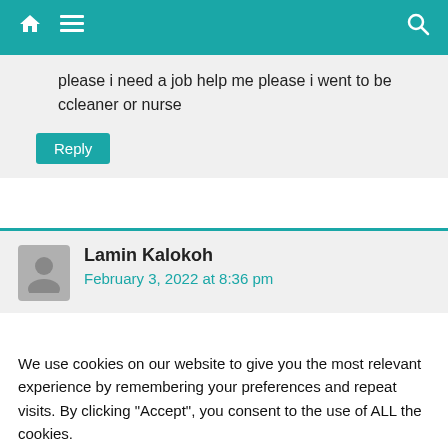Navigation bar with home, menu, and search icons
please i need a job help me please i went to be ccleaner or nurse
Reply
Lamin Kalokoh
February 3, 2022 at 8:36 pm
We use cookies on our website to give you the most relevant experience by remembering your preferences and repeat visits. By clicking “Accept”, you consent to the use of ALL the cookies.
Reject.
Cookie Settings  Accept